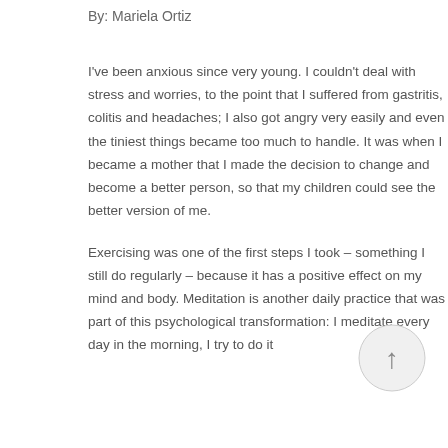By: Mariela Ortiz
I've been anxious since very young. I couldn't deal with stress and worries, to the point that I suffered from gastritis, colitis and headaches; I also got angry very easily and even the tiniest things became too much to handle. It was when I became a mother that I made the decision to change and become a better person, so that my children could see the better version of me.
Exercising was one of the first steps I took – something I still do regularly – because it has a positive effect on my mind and body. Meditation is another daily practice that was part of this psychological transformation: I meditate every day in the morning, I try to do it